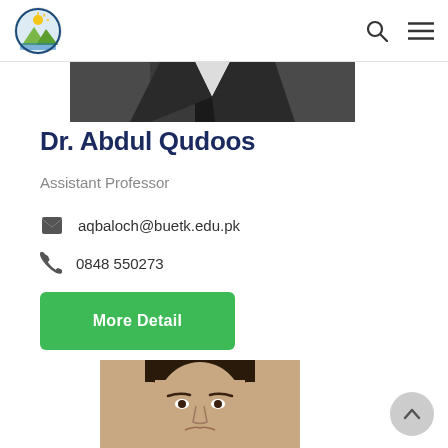BUETK University website header with logo, search icon, and menu icon
[Figure (photo): Cropped photo showing upper body of a person in formal attire (suit)]
Dr. Abdul Qudoos
Assistant Professor
aqbaloch@buetk.edu.pk
0848 550273
More Detail
[Figure (photo): Cropped photo showing the head/upper face of a person]